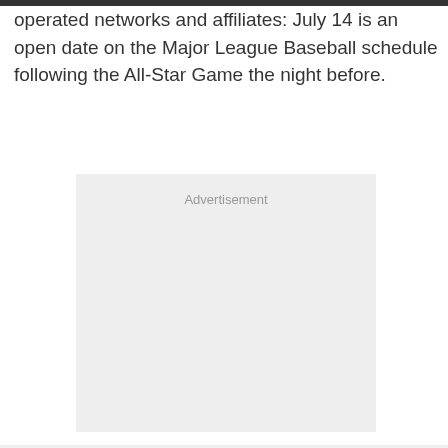operated networks and affiliates: July 14 is an open date on the Major League Baseball schedule following the All-Star Game the night before.
[Figure (other): Advertisement placeholder box with light gray background and 'Advertisement' label centered at the top.]